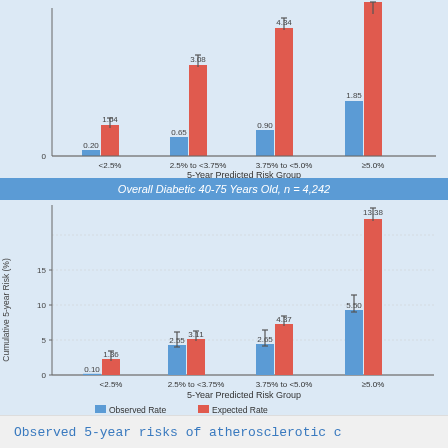[Figure (grouped-bar-chart): (top chart, partial)]
Overall Diabetic 40-75 Years Old, n = 4,242
[Figure (grouped-bar-chart): Overall Diabetic 40-75 Years Old, n = 4,242]
Observed 5-year risks of atherosclerotic c